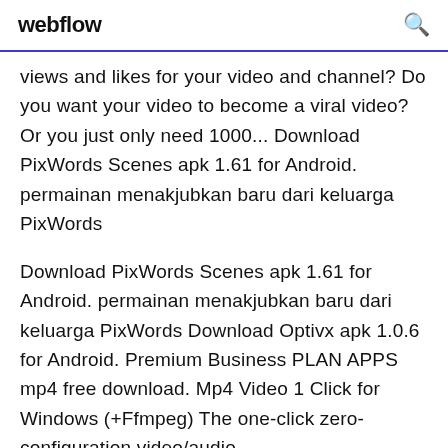webflow
views and likes for your video and channel? Do you want your video to become a viral video?Or you just only need 1000... Download PixWords Scenes apk 1.61 for Android. permainan menakjubkan baru dari keluarga PixWords
Download PixWords Scenes apk 1.61 for Android. permainan menakjubkan baru dari keluarga PixWords Download Optivx apk 1.0.6 for Android. Premium Business PLAN APPS mp4 free download. Mp4 Video 1 Click for Windows (+Ffmpeg) The one-click zero-configuration video/audio converter/transcoder/player inside a Windows File Explo Announcements and news